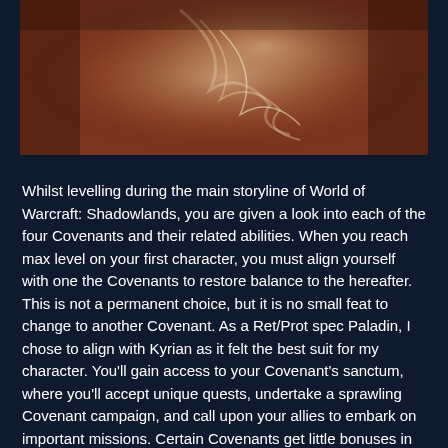[Figure (photo): A fantasy game screenshot or artwork from World of Warcraft: Shadowlands, showing warm reddish-brown and orange tones with a ghostly or ethereal figure.]
Whilst levelling during the main storyline of World of Warcraft: Shadowlands, you are given a look into each of the four Covenants and their related abilities. When you reach max level on your first character, you must align yourself with one the Covenants to restore balance to the hereafter. This is not a permanent choice, but it is no small feat to change to another Covenant. As a Ret/Prot spec Paladin, I chose to align with Kyrian as it felt the best suit for my character. You'll gain access to your Covenant's sanctum, where you'll accept unique quests, undertake a sprawling Covenant campaign, and call upon your allies to embark on important missions. Certain Covenants get little bonuses in dungeons too. For example, Night Fae have a interaction in Tirna Scythe where they can skip the first area, open up a door to a mushroom field to get buffs and also open up a respawn point half way through the